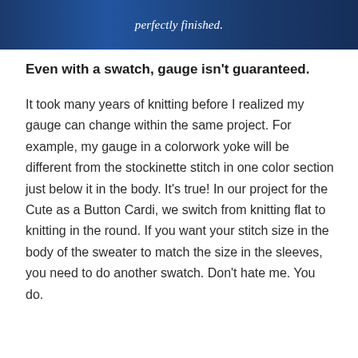[Figure (photo): Partial photo of knitting project with blue/dark background, showing text overlay in italic white text: 'perfectly finished.']
Even with a swatch, gauge isn't guaranteed.
It took many years of knitting before I realized my gauge can change within the same project. For example, my gauge in a colorwork yoke will be different from the stockinette stitch in one color section just below it in the body. It's true! In our project for the Cute as a Button Cardi, we switch from knitting flat to knitting in the round. If you want your stitch size in the body of the sweater to match the size in the sleeves, you need to do another swatch. Don't hate me. You do.